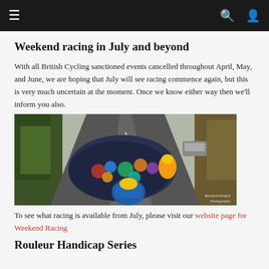≡   🔍  👤
Weekend racing in July and beyond
With all British Cycling sanctioned events cancelled throughout April, May, and June, we are hoping that July will see racing commence again, but this is very much uncertain at the moment. Once we know either way then we'll inform you also.
[Figure (photo): A peloton of cyclists riding along a narrow country road lined with hedgerows and trees, photographed from behind. Photo credit: Richard Knight Photography.]
To see what racing is available from July, please visit our website page for Weekend Racing
Rouleur Handicap Series